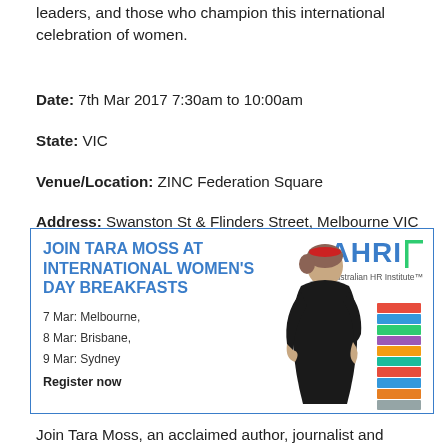leaders, and those who champion this international celebration of women.
Date: 7th Mar 2017 7:30am to 10:00am
State: VIC
Venue/Location: ZINC Federation Square
Address: Swanston St & Flinders Street, Melbourne VIC 3000
[Figure (infographic): Advertisement banner for AHRI International Women's Day Breakfasts featuring Tara Moss. Blue text on white background with image of a woman and stack of books, AHRI logo top right. Text: JOIN TARA MOSS AT INTERNATIONAL WOMEN'S DAY BREAKFASTS. 7 Mar: Melbourne, 8 Mar: Brisbane, 9 Mar: Sydney. Register now.]
Join Tara Moss, an acclaimed author, journalist and human rights advocate for an inspiring breakfast this International Women's Day. Tara will share her personal story and talk about her work in helping